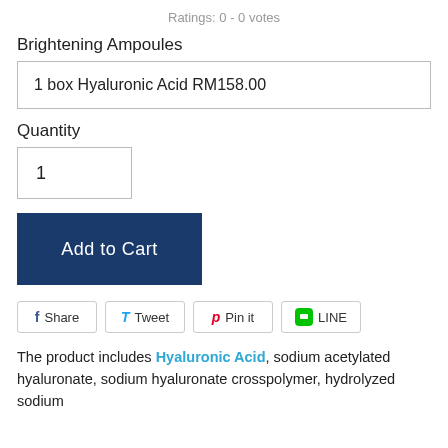Ratings: 0 - 0 votes
Brightening Ampoules
1 box Hyaluronic Acid RM158.00
Quantity
1
Add to Cart
f Share   T Tweet   p Pin it   LINE
The product includes Hyaluronic Acid, sodium acetylated hyaluronate, sodium hyaluronate crosspolymer, hydrolyzed sodium